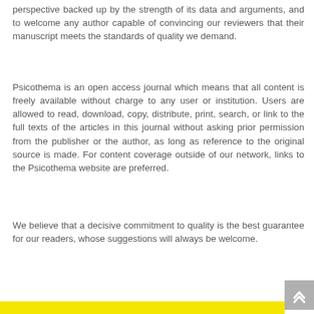perspective backed up by the strength of its data and arguments, and to welcome any author capable of convincing our reviewers that their manuscript meets the standards of quality we demand.
Psicothema is an open access journal which means that all content is freely available without charge to any user or institution. Users are allowed to read, download, copy, distribute, print, search, or link to the full texts of the articles in this journal without asking prior permission from the publisher or the author, as long as reference to the original source is made. For content coverage outside of our network, links to the Psicothema website are preferred.
We believe that a decisive commitment to quality is the best guarantee for our readers, whose suggestions will always be welcome.